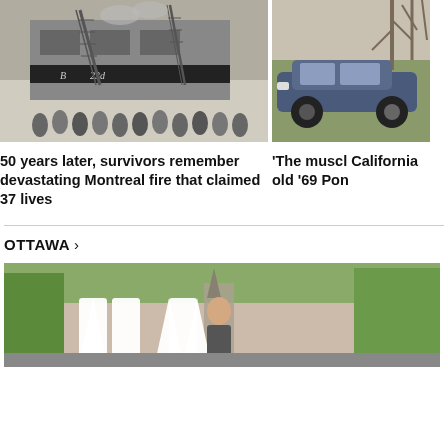[Figure (photo): Black and white photo of firefighters at a building fire with ladder trucks, crowd of people watching, sign reading '23rd']
[Figure (photo): Color photo of a classic car (1969 Pontiac) parked on grass near trees in California]
50 years later, survivors remember devastating Montreal fire that claimed 37 lives
'The muscl California old '69 Pon
OTTAWA >
[Figure (photo): Photo of a person standing in front of large letters spelling AW in Ottawa, with trees and buildings visible]